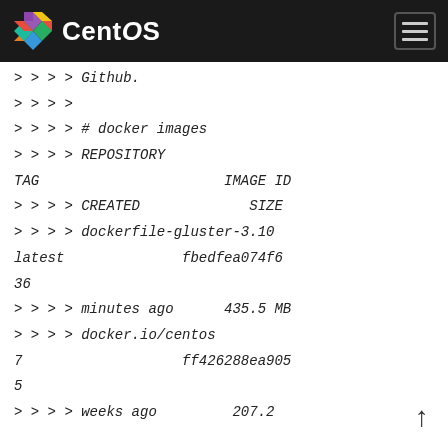CentOS
> > > > Github.
> > > >
> > > > # docker images
> > > > REPOSITORY                          TAG                 IMAGE ID
> > > > CREATED             SIZE
> > > > dockerfile-gluster-3.10             latest              fbedfea074f6
36
> > > > minutes ago         435.5 MB
> > > > docker.io/centos                    7                   ff426288ea90
5
> > > > weeks ago           207.2